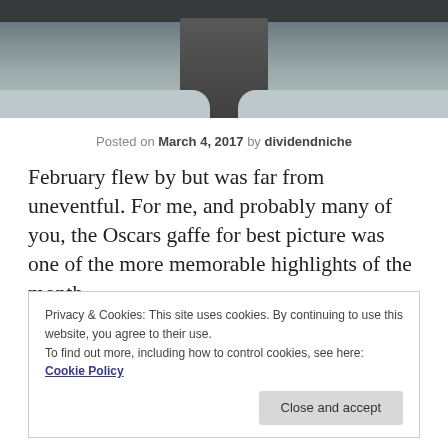[Figure (photo): Outdoor winter scene with a dark figure/statue in the center, snow on the ground, and a dark bar at the top]
Posted on March 4, 2017 by dividendniche
February flew by but was far from uneventful. For me, and probably many of you, the Oscars gaffe for best picture was one of the more memorable highlights of the month.
Privacy & Cookies: This site uses cookies. By continuing to use this website, you agree to their use.
To find out more, including how to control cookies, see here: Cookie Policy
Close and accept